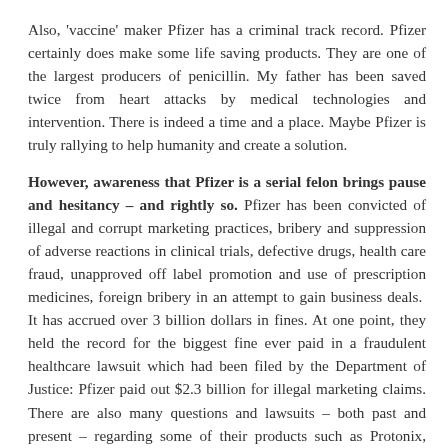Also, 'vaccine' maker Pfizer has a criminal track record. Pfizer certainly does make some life saving products. They are one of the largest producers of penicillin. My father has been saved twice from heart attacks by medical technologies and intervention. There is indeed a time and a place. Maybe Pfizer is truly rallying to help humanity and create a solution.
However, awareness that Pfizer is a serial felon brings pause and hesitancy – and rightly so. Pfizer has been convicted of illegal and corrupt marketing practices, bribery and suppression of adverse reactions in clinical trials, defective drugs, health care fraud, unapproved off label promotion and use of prescription medicines, foreign bribery in an attempt to gain business deals.  It has accrued over 3 billion dollars in fines. At one point, they held the record for the biggest fine ever paid in a fraudulent healthcare lawsuit which had been filed by the Department of Justice: Pfizer paid out $2.3 billion for illegal marketing claims. There are also many questions and lawsuits – both past and present – regarding some of their products such as Protonix, Prempro, Chantix, Depo-testosterone, Zoloft, and Effexor as examples.